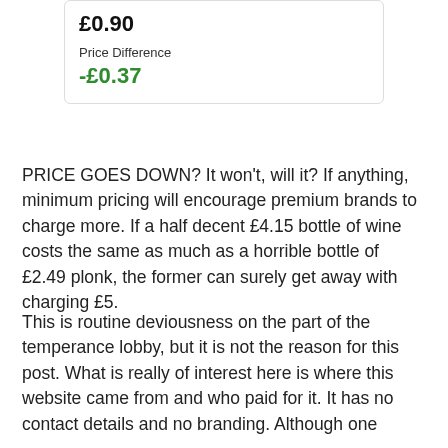[Figure (other): Partial UI card showing price £0.90 and Price Difference -£0.37 in green text]
PRICE GOES DOWN? It won't, will it? If anything, minimum pricing will encourage premium brands to charge more. If a half decent £4.15 bottle of wine costs the same as much as a horrible bottle of £2.49 plonk, the former can surely get away with charging £5.
This is routine deviousness on the part of the temperance lobby, but it is not the reason for this post. What is really of interest here is where this website came from and who paid for it. It has no contact details and no branding. Although one might suspect the hand of the NHS, Alcohol Concern or the Department of Health at work, none of their logos appear.
Perhaps it is the work of some concerned citizen? Unlikely. Although small, the website is too elaborate to be the work on a lone temperance nut. The domain name was registered by a swanky marketing agency based in the North West and it seems to be linked to the chap below, who is an 'Alcohol